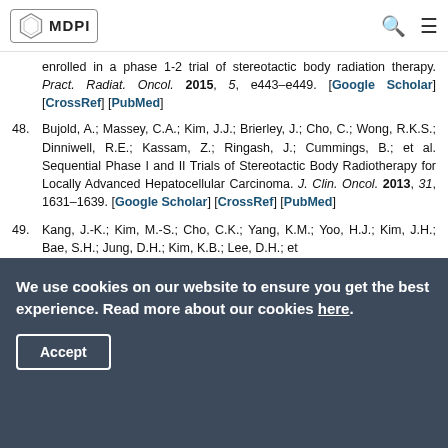MDPI
enrolled in a phase 1-2 trial of stereotactic body radiation therapy. Pract. Radiat. Oncol. 2015, 5, e443–e449. [Google Scholar] [CrossRef] [PubMed]
48. Bujold, A.; Massey, C.A.; Kim, J.J.; Brierley, J.; Cho, C.; Wong, R.K.S.; Dinniwell, R.E.; Kassam, Z.; Ringash, J.; Cummings, B.; et al. Sequential Phase I and II Trials of Stereotactic Body Radiotherapy for Locally Advanced Hepatocellular Carcinoma. J. Clin. Oncol. 2013, 31, 1631–1639. [Google Scholar] [CrossRef] [PubMed]
49. Kang, J.-K.; Kim, M.-S.; Cho, C.K.; Yang, K.M.; Yoo, H.J.; Kim, J.H.; Bae, S.H.; Jung, D.H.; Kim, K.B.; Lee, D.H.; et al
We use cookies on our website to ensure you get the best experience. Read more about our cookies here. Accept